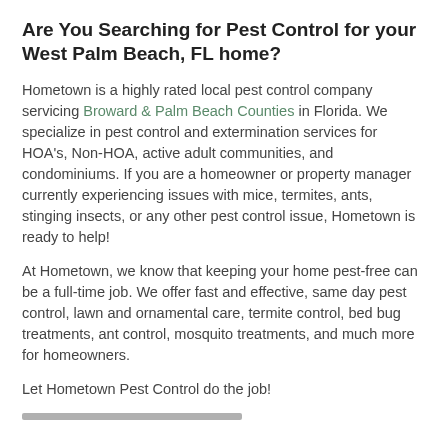Are You Searching for Pest Control for your West Palm Beach, FL home?
Hometown is a highly rated local pest control company servicing Broward & Palm Beach Counties in Florida. We specialize in pest control and extermination services for HOA's, Non-HOA, active adult communities, and condominiums. If you are a homeowner or property manager currently experiencing issues with mice, termites, ants, stinging insects, or any other pest control issue, Hometown is ready to help!
At Hometown, we know that keeping your home pest-free can be a full-time job. We offer fast and effective, same day pest control, lawn and ornamental care, termite control, bed bug treatments, ant control, mosquito treatments, and much more for homeowners.
Let Hometown Pest Control do the job!